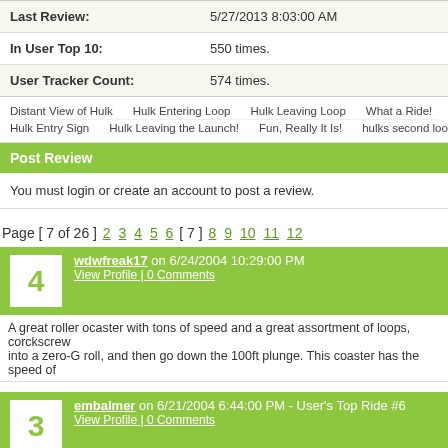| Last Review: | 5/27/2013 8:03:00 AM |
| In User Top 10: | 550 times. |
| User Tracker Count: | 574 times. |
Distant View of Hulk  Hulk Entering Loop  Hulk Leaving Loop  What a Ride!  Side View of ... Hulk Entry Sign  Hulk Leaving the Launch!  Fun, Really It Is!  hulks second loop  Ready for Tak...
Post Review
You must login or create an account to post a review.
Page [ 7 of 26 ] 2 3 4 5 6 [ 7 ] 8 9 10 11 12
wdwfreak17 on 6/24/2004 10:29:00 PM — View Profile | 0 Comments
A great roller ocaster with tons of speed and a great assortment of loops, corckscrew... into a zero-G roll, and then go down the 100ft plunge. This coaster has the speed of...
embalmer on 6/21/2004 6:44:00 PM - User's Top Ride #6 — View Profile | 0 Comments